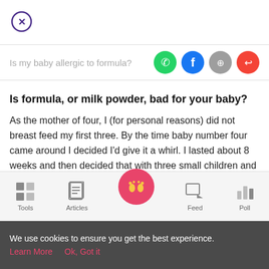[Figure (other): Close/X button circle icon in purple outline]
Is my baby allergic to formula?
[Figure (other): Social share icons: WhatsApp (green), Facebook (blue), link (gray), share (red)]
Is formula, or milk powder, bad for your baby?
As the mother of four, I (for personal reasons) did not breast feed my first three. By the time baby number four came around I decided I'd give it a whirl. I lasted about 8 weeks and then decided that with three small children and a farm
[Figure (other): Bottom navigation bar with Tools, Articles, home (baby feet pink circle), Feed, Poll icons]
We use cookies to ensure you get the best experience.
Learn More   Ok, Got it